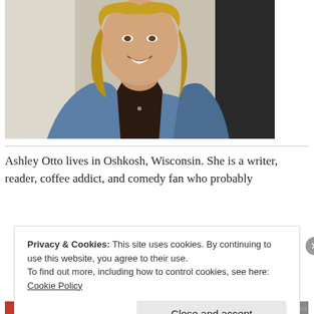[Figure (photo): A smiling young woman with blonde hair wearing a denim jacket, photographed from the shoulders up against a light background.]
Ashley Otto lives in Oshkosh, Wisconsin. She is a writer, reader, coffee addict, and comedy fan who probably
Privacy & Cookies: This site uses cookies. By continuing to use this website, you agree to their use.
To find out more, including how to control cookies, see here: Cookie Policy
Close and accept